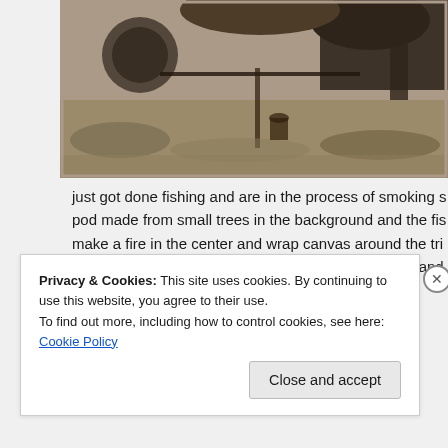[Figure (photo): Sepia/black-and-white historical photograph showing an outdoor scene with a car wheel visible in the background, a horizontal pole or rod, vegetation on the ground, and figures in the scene — apparently a fish smoking setup.]
just got done fishing and are in the process of smoking s... pod made from small trees in the background and the fis... make a fire in the center and wrap canvas around the tri... open. They add wood as needed to supply low heat and...
Privacy & Cookies: This site uses cookies. By continuing to use this website, you agree to their use.
To find out more, including how to control cookies, see here: Cookie Policy